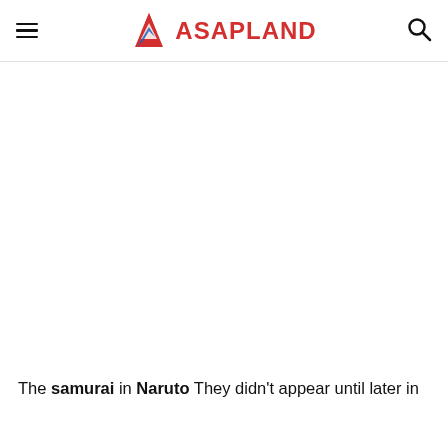ASAPLAND
[Figure (other): Large white/blank image placeholder area in the main content region]
The samurai in Naruto They didn't appear until later in